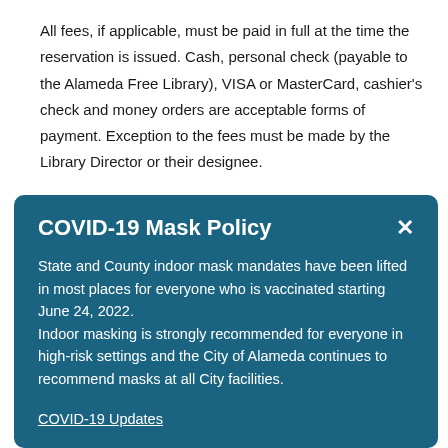All fees, if applicable, must be paid in full at the time the reservation is issued. Cash, personal check (payable to the Alameda Free Library), VISA or MasterCard, cashier's check and money orders are acceptable forms of payment.  Exception to the fees must be made by the Library Director or their designee.
COVID-19 Mask Policy
State and County indoor mask mandates have been lifted in most places for everyone who is vaccinated starting June 24, 2022.
Indoor masking is strongly recommended for everyone in high-risk settings and the City of Alameda continues to recommend masks at all City facilities.
COVID-19 Updates